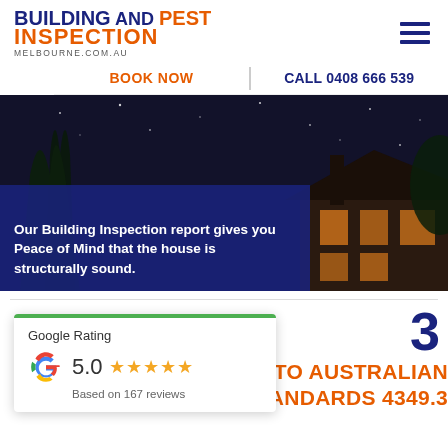[Figure (logo): Building and Pest Inspection Melbourne.com.au logo with blue and orange text]
BOOK NOW
CALL 0408 666 539
[Figure (photo): Night-time photo of a house with trees and stars, with dark blue overlay panel containing text]
Our Building Inspection report gives you Peace of Mind that the house is structurally sound.
[Figure (other): Google Rating card showing 5.0 stars based on 167 reviews]
3
TO AUSTRALIAN
STANDARDS 4349.3